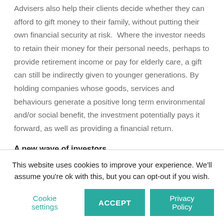Advisers also help their clients decide whether they can afford to gift money to their family, without putting their own financial security at risk.  Where the investor needs to retain their money for their personal needs, perhaps to provide retirement income or pay for elderly care, a gift can still be indirectly given to younger generations. By holding companies whose goods, services and behaviours generate a positive long term environmental and/or social benefit, the investment potentially pays it forward, as well as providing a financial return.
A new wave of investors
This website uses cookies to improve your experience. We'll assume you're ok with this, but you can opt-out if you wish.
Cookie settings  ACCEPT  Privacy Policy